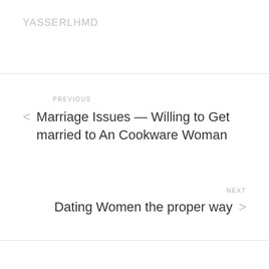YASSERLHMD
PREVIOUS
Marriage Issues — Willing to Get married to An Cookware Woman
NEXT
Dating Women the proper way